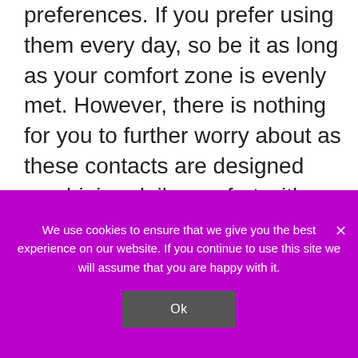preferences. If you prefer using them every day, so be it as long as your comfort zone is evenly met. However, there is nothing for you to further worry about as these contacts are designed combining daily comfort with distinct contact lens designs. Each amazing contact lens is made from safe and patented materials, which made it comfortable, safe and keep your eyes to be hydrated all throughout its utilization.
[Figure (photo): Close-up photo showing two side-by-side images of a person's eyes and eyebrows area, with brown hair visible at top.]
We use cookies to ensure that we give you the best experience on our website. If you continue to use this site we will assume that you are happy with it.